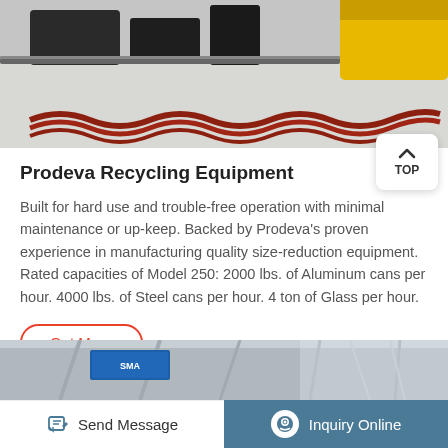[Figure (photo): Industrial recycling equipment on a warehouse floor, including black roller/conveyor components and a yellow machine in the background with a red coil/brush element in the foreground.]
Prodeva Recycling Equipment
Built for hard use and trouble-free operation with minimal maintenance or up-keep. Backed by Prodeva's proven experience in manufacturing quality size-reduction equipment. Rated capacities of Model 250: 2000 lbs. of Aluminum cans per hour. 4000 lbs. of Steel cans per hour. 4 ton of Glass per hour.
Get More
[Figure (photo): Interior of an industrial facility or warehouse with structural beams and signage visible.]
Send Message   Inquiry Online